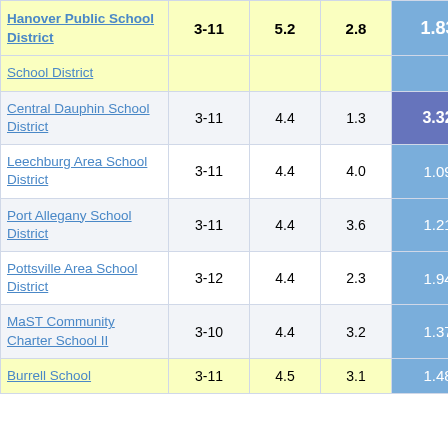| School District | Grades | Col1 | Col2 | Col3 | Col4 |
| --- | --- | --- | --- | --- | --- |
| Hanover Public School District | 3-11 | 5.2 | 2.8 | 1.83 | 5 |
| School District |  |  |  |  |  |
| Central Dauphin School District | 3-11 | 4.4 | 1.3 | 3.32 |  |
| Leechburg Area School District | 3-11 | 4.4 | 4.0 | 1.09 |  |
| Port Allegany School District | 3-11 | 4.4 | 3.6 | 1.21 |  |
| Pottsville Area School District | 3-12 | 4.4 | 2.3 | 1.94 |  |
| MaST Community Charter School II | 3-10 | 4.4 | 3.2 | 1.37 |  |
| Burrell School | 3-11 | 4.5 | 3.1 | 1.48 |  |